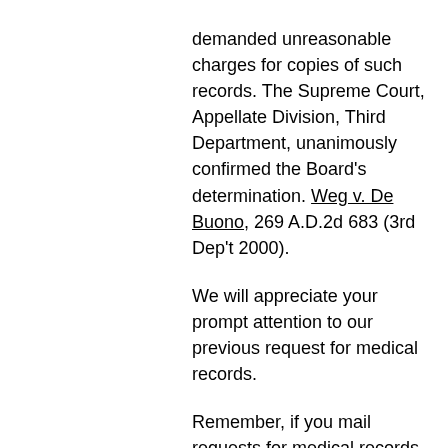demanded unreasonable charges for copies of such records. The Supreme Court, Appellate Division, Third Department, unanimously confirmed the Board's determination. Weg v. De Buono, 269 A.D.2d 683 (3rd Dep't 2000).
We will appreciate your prompt attention to our previous request for medical records.
Remember, if you mail requests for medical records, your job is not done. If you do not possess the medical records within ten business days of your request, you should call the medical provider to ask why you don't have the medical records and follow up with a fax to confirm your